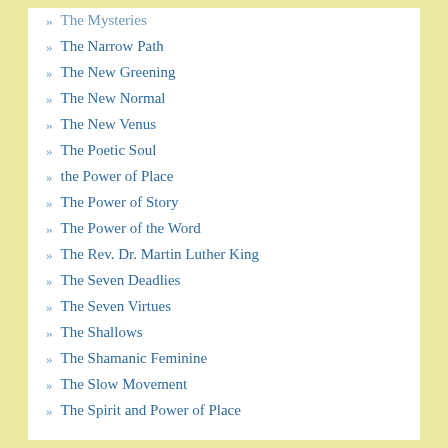The Mysteries
The Narrow Path
The New Greening
The New Normal
The New Venus
The Poetic Soul
the Power of Place
The Power of Story
The Power of the Word
The Rev. Dr. Martin Luther King
The Seven Deadlies
The Seven Virtues
The Shallows
The Shamanic Feminine
The Slow Movement
The Spirit and Power of Place